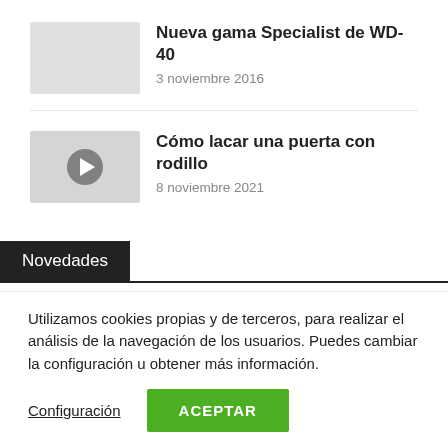Nueva gama Specialist de WD-40
3 noviembre 2016
Cómo lacar una puerta con rodillo
8 noviembre 2021
Novedades
Utilizamos cookies propias y de terceros, para realizar el análisis de la navegación de los usuarios. Puedes cambiar la configuración u obtener más información.
Configuración
ACEPTAR